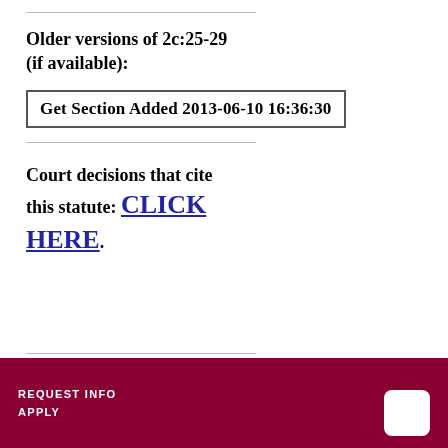Older versions of 2c:25-29 (if available):
Get Section Added 2013-06-10 16:36:30
Court decisions that cite this statute: CLICK HERE.
REQUEST INFO  APPLY